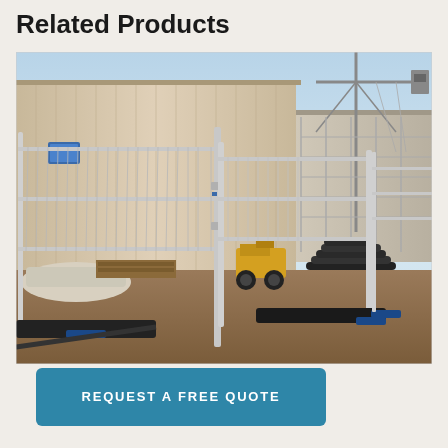Related Products
[Figure (photo): Temporary construction fence panels with metal frames and rubber bases, set up at a construction site with a large industrial building and crane visible in the background.]
REQUEST A FREE QUOTE